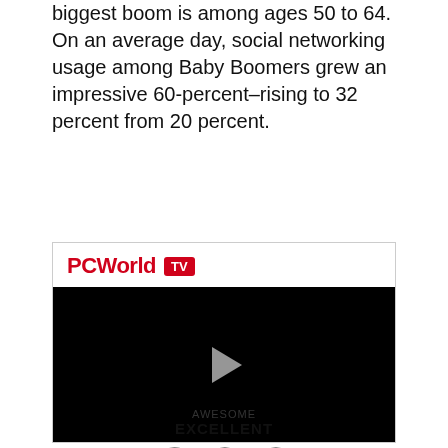biggest boom is among ages 50 to 64. On an average day, social networking usage among Baby Boomers grew an impressive 60-percent–rising to 32 percent from 20 percent.
[Figure (screenshot): PCWorld TV video player embed with a black video area and a play button in the center. The header shows the PCWorld logo in red and a red TV badge.]
AWESOME EXCELLENT GOOD